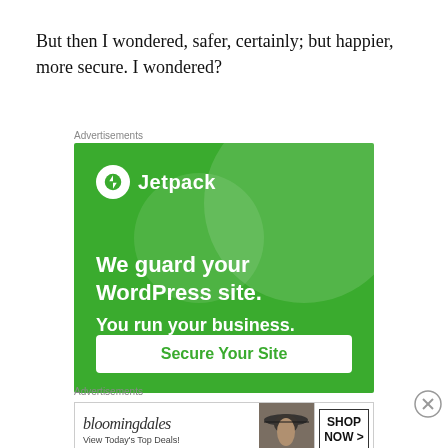But then I wondered, safer, certainly; but happier, more secure. I wondered?
Advertisements
[Figure (illustration): Jetpack advertisement banner: green background with circular decorative shapes, Jetpack logo with lightning bolt icon, text 'We guard your WordPress site. You run your business.' and a 'Secure Your Site' button.]
Advertisements
[Figure (illustration): Bloomingdale's advertisement: logo text, 'View Today's Top Deals!' with woman wearing hat image and 'SHOP NOW >' button.]